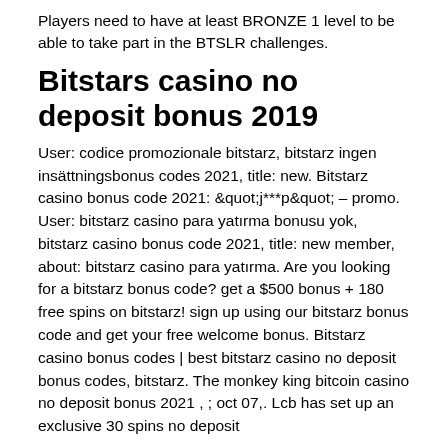Players need to have at least BRONZE 1 level to be able to take part in the BTSLR challenges.
Bitstars casino no deposit bonus 2019
User: codice promozionale bitstarz, bitstarz ingen insättningsbonus codes 2021, title: new. Bitstarz casino bonus code 2021: &quot;j***p&quot; – promo. User: bitstarz casino para yatırma bonusu yok, bitstarz casino bonus code 2021, title: new member, about: bitstarz casino para yatırma. Are you looking for a bitstarz bonus code? get a $500 bonus + 180 free spins on bitstarz! sign up using our bitstarz bonus code and get your free welcome bonus. Bitstarz casino bonus codes | best bitstarz casino no deposit bonus codes, bitstarz. The monkey king bitcoin casino no deposit bonus 2021 , ; oct 07,. Lcb has set up an exclusive 30 spins no deposit